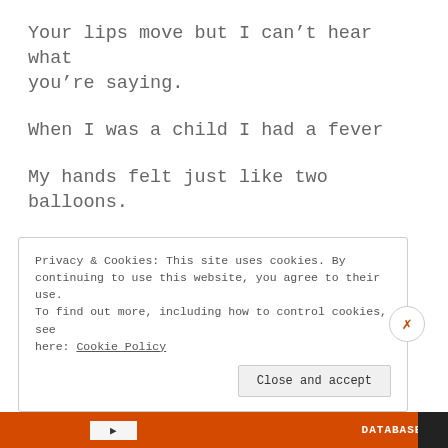Your lips move but I can’t hear what you’re saying.
When I was a child I had a fever
My hands felt just like two balloons.
Now I’ve got that feeling once again
Privacy & Cookies: This site uses cookies. By continuing to use this website, you agree to their use. To find out more, including how to control cookies, see here: Cookie Policy
Close and accept